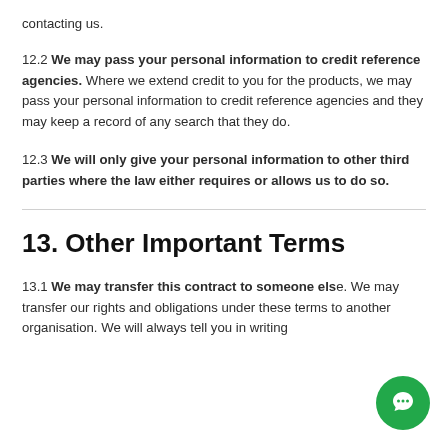contacting us.
12.2 We may pass your personal information to credit reference agencies. Where we extend credit to you for the products, we may pass your personal information to credit reference agencies and they may keep a record of any search that they do.
12.3 We will only give your personal information to other third parties where the law either requires or allows us to do so.
13. Other Important Terms
13.1 We may transfer this contract to someone else. We may transfer our rights and obligations under these terms to another organisation. We will always tell you in writing